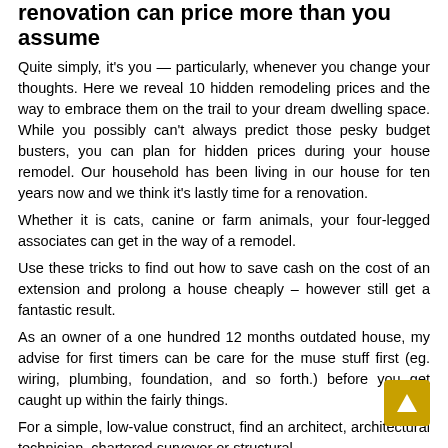renovation can price more than you assume
Quite simply, it's you — particularly, whenever you change your thoughts. Here we reveal 10 hidden remodeling prices and the way to embrace them on the trail to your dream dwelling space. While you possibly can't always predict those pesky budget busters, you can plan for hidden prices during your house remodel. Our household has been living in our house for ten years now and we think it's lastly time for a renovation.
Whether it is cats, canine or farm animals, your four-legged associates can get in the way of a remodel.
Use these tricks to find out how to save cash on the cost of an extension and prolong a house cheaply – however still get a fantastic result.
As an owner of a one hundred 12 months outdated house, my advise for first timers can be care for the muse stuff first (eg. wiring, plumbing, foundation, and so forth.) before you get caught up within the fairly things.
For a simple, low-value construct, find an architect, architectural technician, chartered surveyor or structural